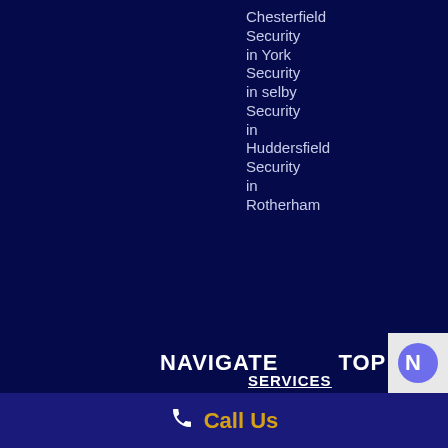Chesterfield
Security in York
Security in selby
Security in Huddersfield
Security in Rotherham
NAVIGATE
TOP
Call Us